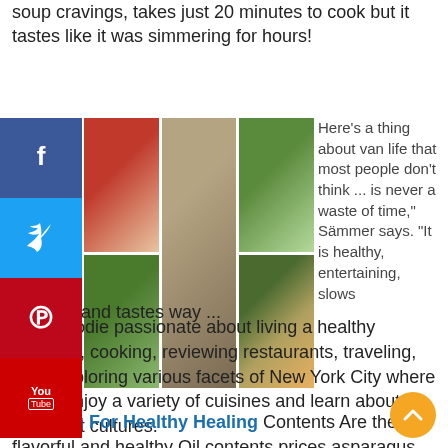soup cravings, takes just 20 minutes to cook but it tastes like it was simmering for hours!
[Figure (photo): Collage of food photos: berries bowl, woman eating, green salad, leafy greens with avocado, baked avocado with egg]
Here's a thing about van life that most people don't think ... is never a waste of time," Sämmer says. "It is healthy, entertaining, slows down, and tastes way ...
ut. A foodie passionate about living a healthy lifestyle, cooking, reviewing restaurants, traveling, and exploring various facets of New York City where I can enjoy a variety of cuisines and learn about different cultures.
Cooking For Healthy Healing Contents Are they flavorful and healthy Oil contents prices asparagus All the healthy